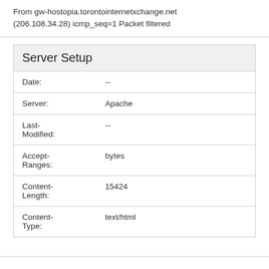From gw-hostopia.torontointernetxchange.net (206.108.34.28) icmp_seq=1 Packet filtered
Server Setup
| Field | Value |
| --- | --- |
| Date: | -- |
| Server: | Apache |
| Last-Modified: | -- |
| Accept-Ranges: | bytes |
| Content-Length: | 15424 |
| Content-Type: | text/html |